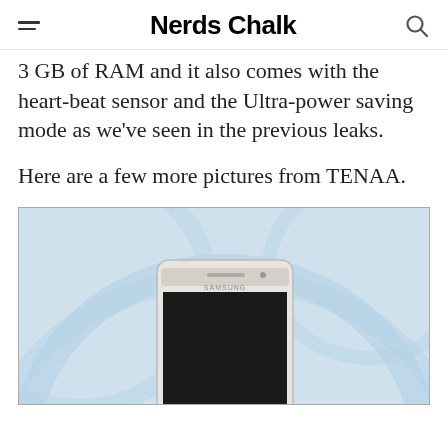Nerds Chalk
3 GB of RAM and it also comes with the heart-beat sensor and the Ultra-power saving mode as we've seen in the previous leaks.
Here are a few more pictures from TENAA.
[Figure (photo): Samsung smartphone shown from the front, displayed on TENAA website background with watermark www.tenaa.com.cn, light blue curved background design]